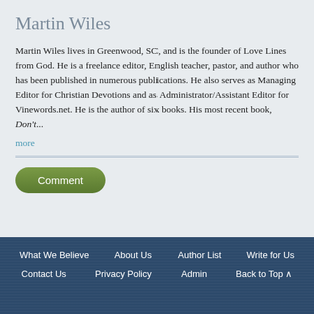Martin Wiles
Martin Wiles lives in Greenwood, SC, and is the founder of Love Lines from God. He is a freelance editor, English teacher, pastor, and author who has been published in numerous publications. He also serves as Managing Editor for Christian Devotions and as Administrator/Assistant Editor for Vinewords.net. He is the author of six books. His most recent book, Don't...
more
Comment
What We Believe   About Us   Author List   Write for Us   Contact Us   Privacy Policy   Admin   Back to Top ^